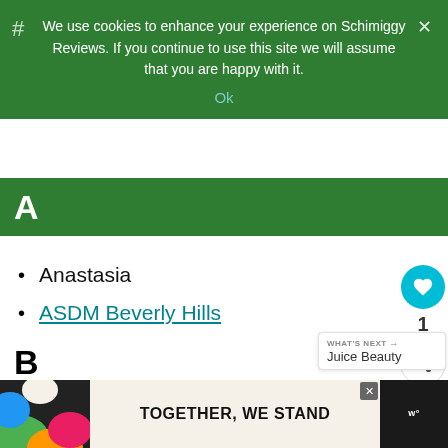We use cookies to enhance your experience on Schimiggy Reviews. If you continue to use this site we will assume that you are happy with it.
Ok
A
Anastasia
ASDM Beverly Hills
B
Beauty Counter
Beyou.
C
WHAT'S NEXT → Juice Beauty
[Figure (other): Advertisement banner at bottom: colorful shapes on left, 'TOGETHER, WE STAND' text in center on cream background, close button, Warby Parker logo area on right]